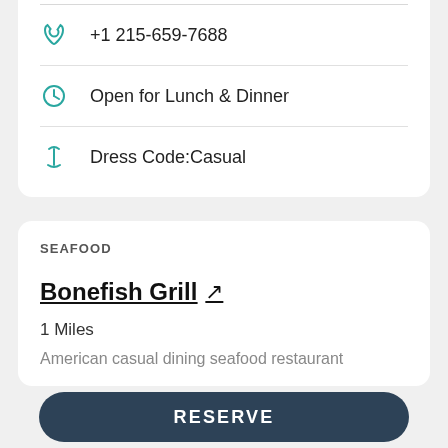+1 215-659-7688
Open for Lunch & Dinner
Dress Code:Casual
SEAFOOD
Bonefish Grill ↗
1 Miles
American casual dining seafood restaurant
RESERVE